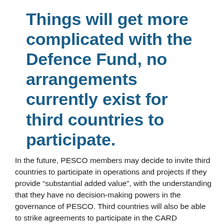Things will get more complicated with the Defence Fund, no arrangements currently exist for third countries to participate.
In the future, PESCO members may decide to invite third countries to participate in operations and projects if they provide “substantial added value”, with the understanding that they have no decision-making powers in the governance of PESCO. Third countries will also be able to strike agreements to participate in the CARD mechanism through a deal with the EDA.